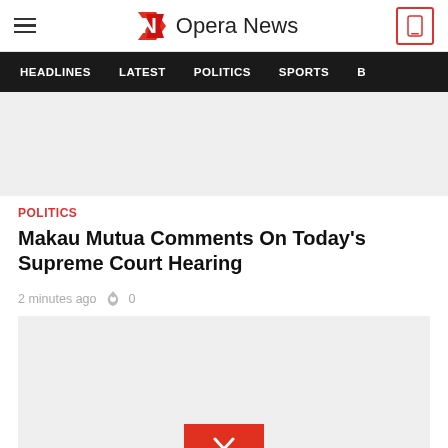Opera News
HEADLINES  LATEST  POLITICS  SPORTS  B
[Figure (other): Gray advertisement banner placeholder]
POLITICS
Makau Mutua Comments On Today's Supreme Court Hearing
2 minutes ago  🔥 0
[Figure (other): Gray advertisement banner placeholder with red chevron/expand button]